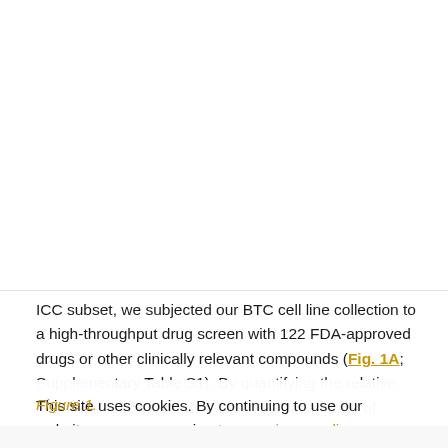Advertisement
ICC subset, we subjected our BTC cell line collection to a high-throughput drug screen with 122 FDA-approved drugs or other clinically relevant compounds (Fig. 1A; Supplementary Table S1). By quantifying the relative response to compounds targeting a wide range of pathways, this screen also allows us to generate a unique and functionally relevant drug-sensitivity profile for each BTC cell line.
This site uses cookies. By continuing to use our website, you are agreeing to our privacy policy. Accept
Figure 1.